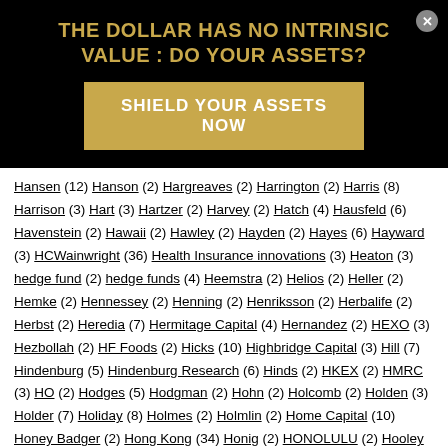THE DOLLAR HAS NO INTRINSIC VALUE : DO YOUR ASSETS?
SHIELD YOUR ASSETS NOW
Hansen (12) Hanson (2) Hargreaves (2) Harrington (2) Harris (8) Harrison (3) Hart (3) Hartzer (2) Harvey (2) Hatch (4) Hausfeld (6) Havenstein (2) Hawaii (2) Hawley (2) Hayden (2) Hayes (6) Hayward (3) HCWainwright (36) Health Insurance innovations (3) Heaton (3) hedge fund (2) hedge funds (4) Heemstra (2) Helios (2) Heller (2) Hemke (2) Hennessey (2) Henning (2) Henriksson (2) Herbalife (2) Herbst (2) Heredia (7) Hermitage Capital (4) Hernandez (2) HEXO (3) Hezbollah (2) HF Foods (2) Hicks (10) Highbridge Capital (3) Hill (7) Hindenburg (5) Hindenburg Research (6) Hinds (2) HKEX (2) HMRC (3) HO (2) Hodges (5) Hodgman (2) Hohn (2) Holcomb (2) Holden (3) Holder (7) Holiday (8) Holmes (2) Holmlin (2) Home Capital (10) Honey Badger (2) Hong Kong (34) Honig (2) HONOLULU (2) Hooley (6) Hopper (2)